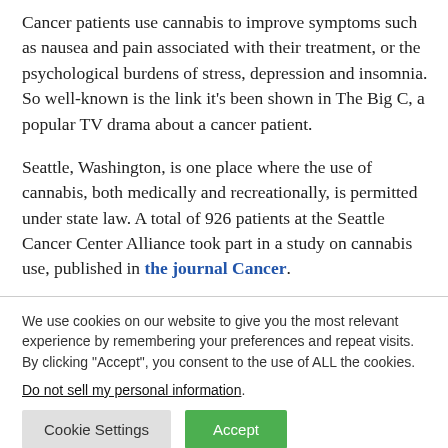Cancer patients use cannabis to improve symptoms such as nausea and pain associated with their treatment, or the psychological burdens of stress, depression and insomnia. So well-known is the link it's been shown in The Big C, a popular TV drama about a cancer patient.
Seattle, Washington, is one place where the use of cannabis, both medically and recreationally, is permitted under state law. A total of 926 patients at the Seattle Cancer Center Alliance took part in a study on cannabis use, published in the journal Cancer.
We use cookies on our website to give you the most relevant experience by remembering your preferences and repeat visits. By clicking "Accept", you consent to the use of ALL the cookies. Do not sell my personal information.